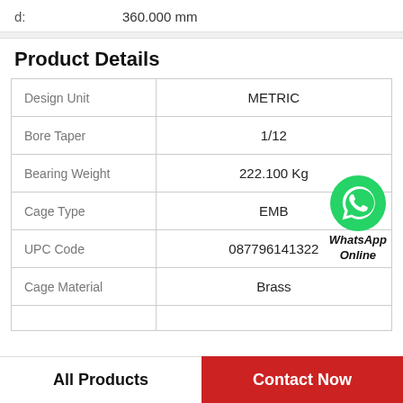d:    360.000 mm
Product Details
|  |  |
| --- | --- |
| Design Unit | METRIC |
| Bore Taper | 1/12 |
| Bearing Weight | 222.100 Kg |
| Cage Type | EMB |
| UPC Code | 087796141322 |
| Cage Material | Brass |
|  |  |
[Figure (logo): WhatsApp green phone icon with WhatsApp Online text]
All Products    Contact Now